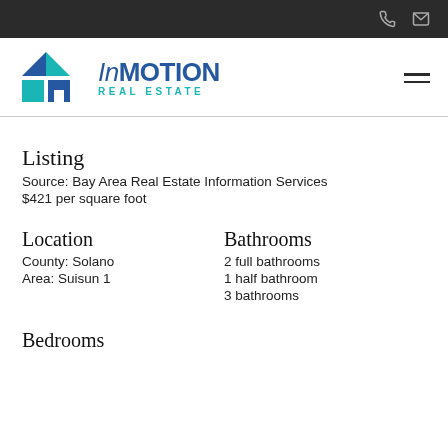InMOTION REAL ESTATE — phone and email icons
[Figure (logo): InMOTION Real Estate logo with teal/blue geometric house icon and blue text reading InMOTION REAL ESTATE]
Listing
Source: Bay Area Real Estate Information Services
$421 per square foot
Location
County: Solano
Area: Suisun 1
Bathrooms
2 full bathrooms
1 half bathroom
3 bathrooms
Bedrooms